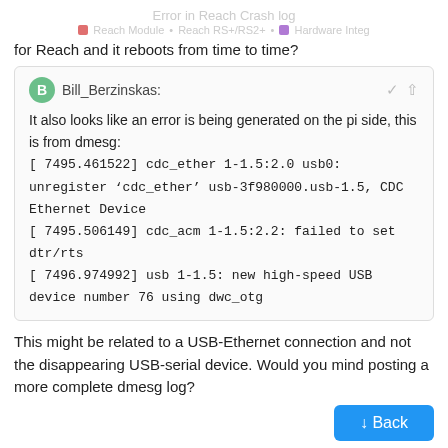Error in Reach Crash log
Reach Module • Reach RS+/RS2+ • Hardware Integ
for Reach and it reboots from time to time?
Bill_Berzinskas:
It also looks like an error is being generated on the pi side, this is from dmesg:
[ 7495.461522] cdc_ether 1-1.5:2.0 usb0: unregister 'cdc_ether' usb-3f980000.usb-1.5, CDC Ethernet Device
[ 7495.506149] cdc_acm 1-1.5:2.2: failed to set dtr/rts
[ 7496.974992] usb 1-1.5: new high-speed USB device number 76 using dwc_otg
This might be related to a USB-Ethernet connection and not the disappearing USB-serial device. Would you mind posting a more complete dmesg log?
2 / 5